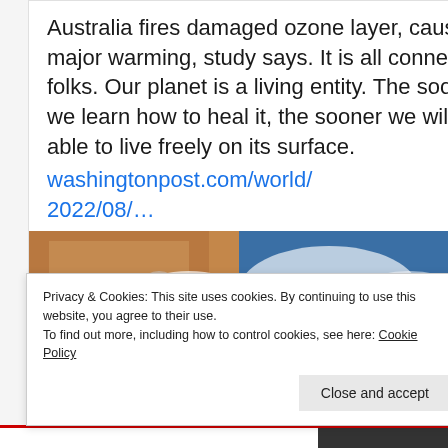Australia fires damaged ozone layer, caused major warming, study says. It is all connected, folks. Our planet is a living entity. The sooner we learn how to heal it, the sooner we will be able to live freely on its surface. washingtonpost.com/world/2022/08/…
[Figure (photo): Satellite aerial image of Australia showing land and cloud formations, taken from space]
Privacy & Cookies: This site uses cookies. By continuing to use this website, you agree to their use.
To find out more, including how to control cookies, see here: Cookie Policy
Close and accept